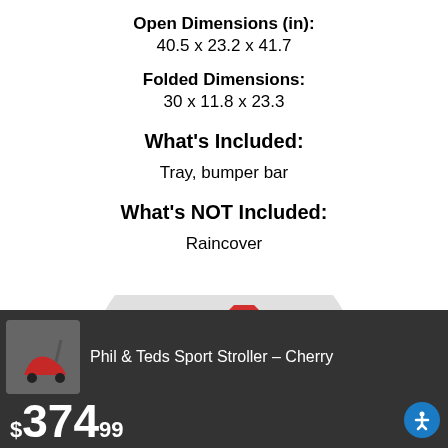Open Dimensions (in):
40.5 x 23.2 x 41.7
Folded Dimensions:
30 x 11.8 x 23.3
What's Included:
Tray, bumper bar
What's NOT Included:
Raincover
[Figure (photo): Product image of Phil & Teds Sport Stroller in Cherry color, shown with auto-stop badge, against a gray circular background]
Phil & Teds Sport Stroller – Cherry
$374.99